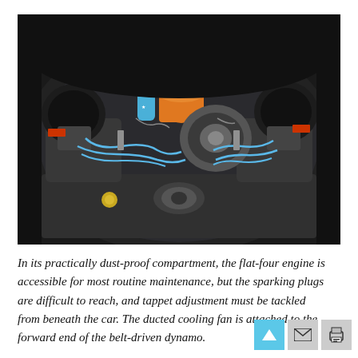[Figure (photo): Overhead view of a Volkswagen flat-four (boxer) engine in its engine compartment, showing air-cooled cylinders, blue spark plug wires, orange oil filter canister, dual carburetors with round air filters, and various engine components visible from above.]
In its practically dust-proof compartment, the flat-four engine is accessible for most routine maintenance, but the sparking plugs are difficult to reach, and tappet adjustment must be tackled from beneath the car. The ducted cooling fan is attached to the forward end of the belt-driven dynamo.